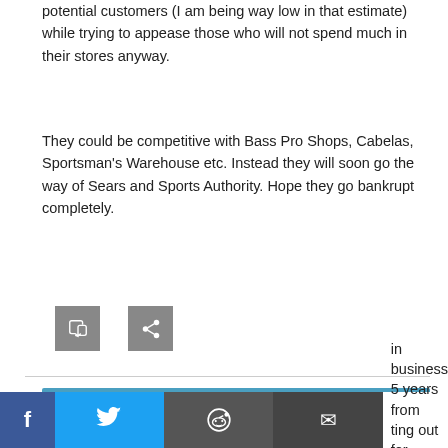potential customers (I am being way low in that estimate) while trying to appease those who will not spend much in their stores anyway.
They could be competitive with Bass Pro Shops, Cabelas, Sportsman's Warehouse etc. Instead they will soon go the way of Sears and Sports Authority. Hope they go bankrupt completely.
[Figure (other): Two small grey icon buttons (reply and share)]
Gunny8541
APRIL 8, 2019 2:11 PM
in business 5 years from ting out for himself. He's